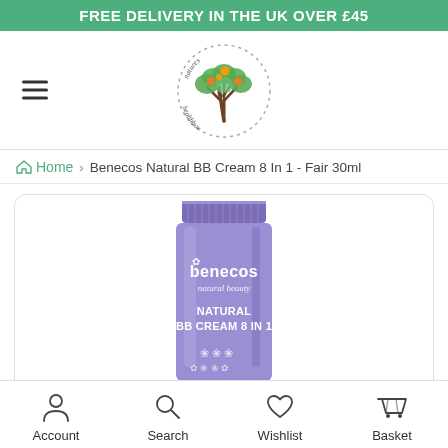FREE DELIVERY IN THE UK OVER £45
[Figure (logo): Natures Healthbox logo — circular dotted border with a green tree illustration and orange/yellow fruit, text 'natures healthbox' around the tree]
Home › Benecos Natural BB Cream 8 In 1 - Fair 30ml
[Figure (photo): Benecos Natural BB Cream 8 In 1 product tube in purple/lavender color with white text reading 'benecos natural beauty NATURAL BB CREAM 8 IN 1' with floral decoration at the bottom]
Account   Search   Wishlist   Basket